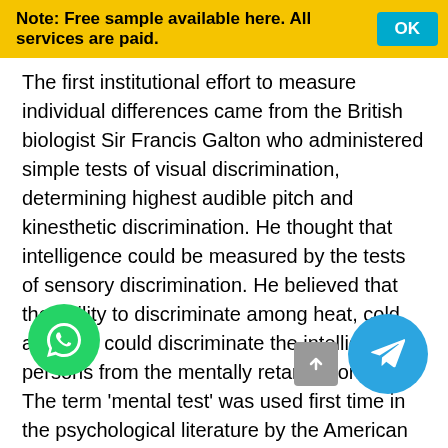Note: Free sample available here. All services are paid. OK
The first institutional effort to measure individual differences came from the British biologist Sir Francis Galton who administered simple tests of visual discrimination, determining highest audible pitch and kinesthetic discrimination. He thought that intelligence could be measured by the tests of sensory discrimination. He believed that the ability to discriminate among heat, cold and pain could discriminate the intelligent persons from the mentally retarded ones. The term 'mental test' was used first time in the psychological literature by the American psychologist James McKeen Cattell in 1890. He described a number of tests to measure intellectual level of persons which included measures of muscular strength, of movement, sensitivity to pain, keenness of vision and of hearing, weight discrimination, reaction time, memory etc.